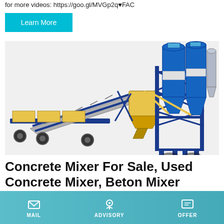for more videos: https://goo.gl/MVGp2q♥FAC
Learn More
[Figure (illustration): Industrial concrete batching plant with conveyor belt, mixing unit, and large cylindrical blue and white silos on a steel frame tower]
Concrete Mixer For Sale, Used Concrete Mixer, Beton Mixer
Concrete mixers: 407 offers, search and find ads for new and used concrete mixers for sale, beton mixer, mortar mixer — Machineryline Canada. Beco ASUR MAKİNA BENFORD
MAIL  ADVISORY  OFFER